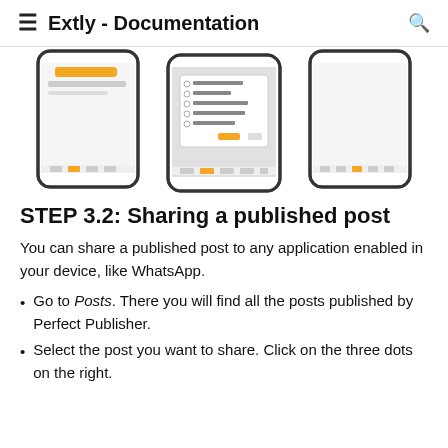Extly - Documentation
[Figure (screenshot): Three mobile phone screenshots showing the Extly app interface with Channels selection and a dropdown menu listing Twitter Channel, Web Push, Extly Compa..., Extly Tech-SMB, Instagram options]
STEP 3.2: Sharing a published post
You can share a published post to any application enabled in your device, like WhatsApp.
Go to Posts. There you will find all the posts published by Perfect Publisher.
Select the post you want to share. Click on the three dots on the right.